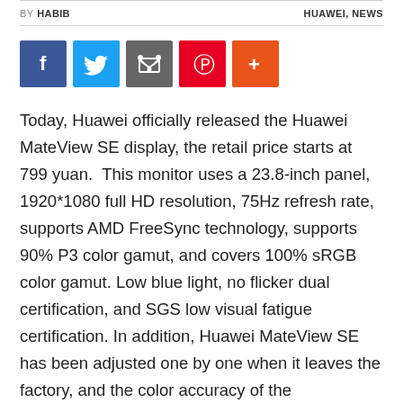BY HABIB    HUAWEI, NEWS
[Figure (other): Social sharing icons: Facebook, Twitter, Email/Share, Pinterest, More (+)]
Today, Huawei officially released the Huawei MateView SE display, the retail price starts at 799 yuan.  This monitor uses a 23.8-inch panel, 1920*1080 full HD resolution, 75Hz refresh rate, supports AMD FreeSync technology, supports 90% P3 color gamut, and covers 100% sRGB color gamut. Low blue light, no flicker dual certification, and SGS low visual fatigue certification. In addition, Huawei MateView SE has been adjusted one by one when it leaves the factory, and the color accuracy of the